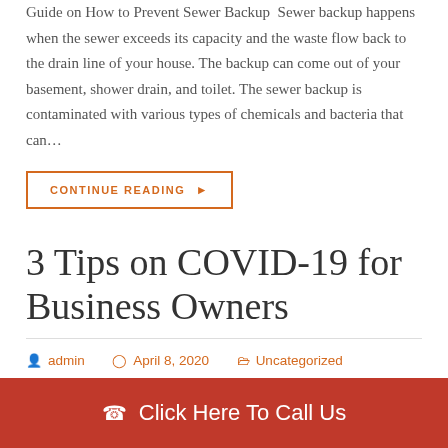Guide on How to Prevent Sewer Backup  Sewer backup happens when the sewer exceeds its capacity and the waste flow back to the drain line of your house. The backup can come out of your basement, shower drain, and toilet. The sewer backup is contaminated with various types of chemicals and bacteria that can…
CONTINUE READING ▸
3 Tips on COVID-19 for Business Owners
admin   April 8, 2020   Uncategorized
Click Here To Call Us